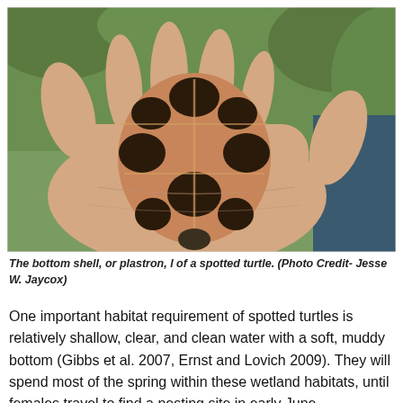[Figure (photo): A hand holding a spotted turtle viewed from below, showing the bottom shell (plastron) with dark brown and tan patterning. Green vegetation visible in background.]
The bottom shell, or plastron, l of a spotted turtle. (Photo Credit- Jesse W. Jaycox)
One important habitat requirement of spotted turtles is relatively shallow, clear, and clean water with a soft, muddy bottom (Gibbs et al. 2007, Ernst and Lovich 2009). They will spend most of the spring within these wetland habitats, until females travel to find a nesting site in early June.